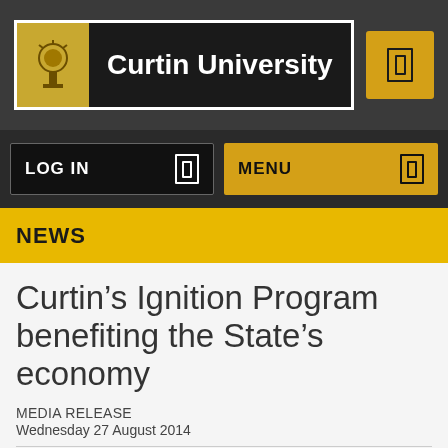[Figure (logo): Curtin University logo with yellow icon and white text on dark background header bar]
LOG IN | MENU
NEWS
Curtin's Ignition Program benefiting the State's economy
MEDIA RELEASE
Wednesday 27 August 2014
Curtin University's Ignition program continues to grow with 54 of Western Australia's most exciting